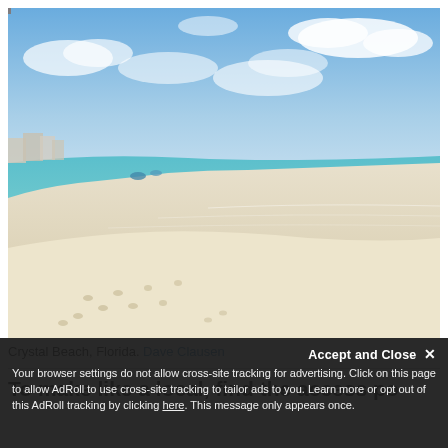[Figure (photo): A wide beach scene showing Crystal Beach, Florida. White sandy beach with footprints curves along clear turquoise water. Blue sky with scattered white clouds above. Buildings visible in far left background. A few people and beach chairs visible near the shoreline in the distance.]
Crystal Beach, Florida. Dave Clausen
To make like a local, find the access po
Accept and Close ×
Your browser settings do not allow cross-site tracking for advertising. Click on this page to allow AdRoll to use cross-site tracking to tailor ads to you. Learn more or opt out of this AdRoll tracking by clicking here. This message only appears once.